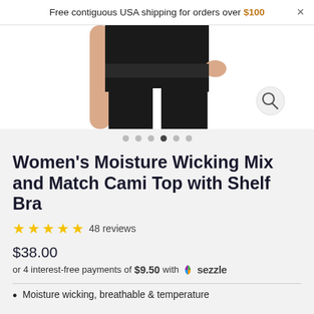Free contiguous USA shipping for orders over $100  ×
[Figure (photo): Woman wearing black moisture wicking cami top and black pants, cropped to show torso and hands]
● ● ● ● ● ●  (dots navigation, 4th dot active)
Women's Moisture Wicking Mix and Match Cami Top with Shelf Bra
★★★★★ 48 reviews
$38.00
or 4 interest-free payments of $9.50 with  sezzle
Moisture wicking, breathable & temperature